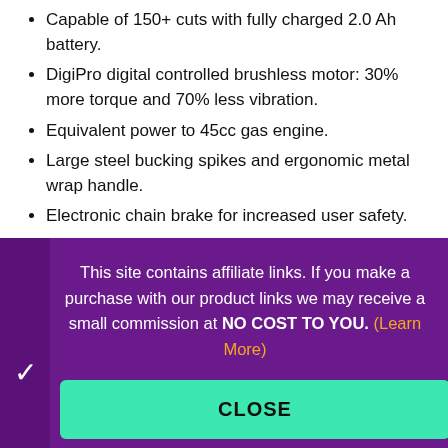Capable of 150+ cuts with fully charged 2.0 Ah battery.
DigiPro digital controlled brushless motor: 30% more torque and 70% less vibration.
Equivalent power to 45cc gas engine.
Large steel bucking spikes and ergonomic metal wrap handle.
Electronic chain brake for increased user safety.
On board chain tensioning tool.
This site contains affiliate links. If you make a purchase with our product links we may receive a small commission at NO COST TO YOU. (Learn More)
CLOSE